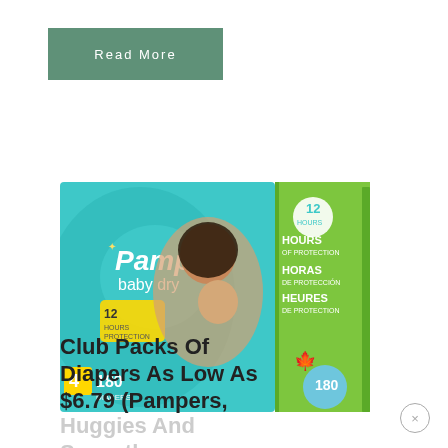Read More
[Figure (photo): Pampers Baby Dry diapers club pack box, Size 4, 180 count, showing 12 Hours of protection label in English, Spanish, and French]
Club Packs Of Diapers As Low As $6.79 (Pampers, Huggies And Seventh
×